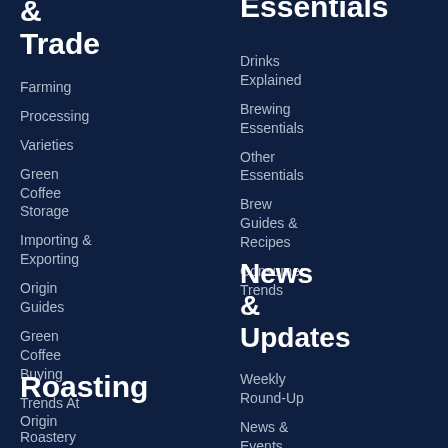& Trade
Farming
Processing
Varieties
Green Coffee Storage
Importing & Exporting
Origin Guides
Green Coffee Buying
Trends At Origin
Roasting
Roastery (truncated)
Essentials
Drinks Explained
Brewing Essentials
Other Essentials
Brew Guides & Recipes
Consumer Trends
News & Updates
Weekly Round-Up
News & Events